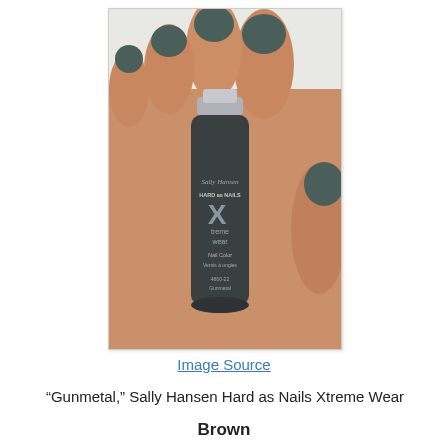[Figure (photo): A hand holding a bottle of Sally Hansen Hard as Nails Xtreme Wear Nail Color in Gunmetal (4860-22), with nails painted in a dark gunmetal/teal-grey color.]
Image Source
“Gunmetal,” Sally Hansen Hard as Nails Xtreme Wear
Brown